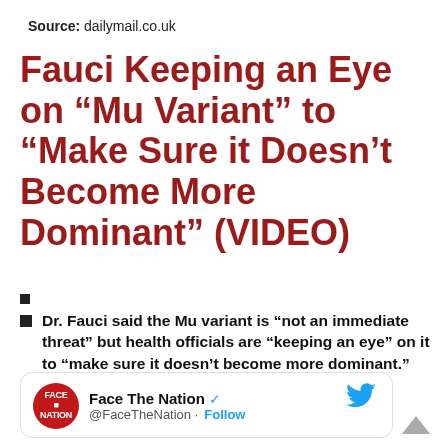Source: dailymail.co.uk
Fauci Keeping an Eye on “Mu Variant” to “Make Sure it Doesn’t Become More Dominant” (VIDEO)
Dr. Fauci said the Mu variant is “not an immediate threat” but health officials are “keeping an eye” on it to “make sure it doesn’t become more dominant.”
[Figure (screenshot): Tweet from Face The Nation (@FaceTheNation) with Follow button and Twitter bird icon]